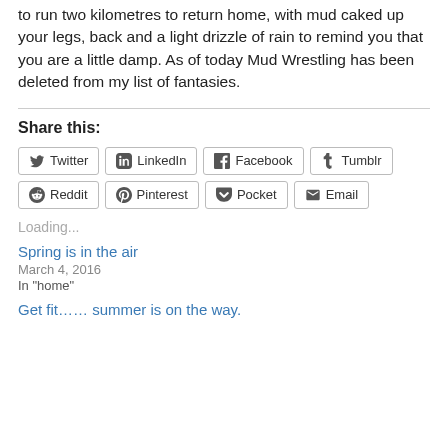to run two kilometres to return home, with mud caked up your legs, back and a light drizzle of rain to remind you that you are a little damp. As of today Mud Wrestling has been deleted from my list of fantasies.
Share this:
Twitter LinkedIn Facebook Tumblr Reddit Pinterest Pocket Email
Loading...
Spring is in the air
March 4, 2016
In "home"
Get fit…… summer is on the way.